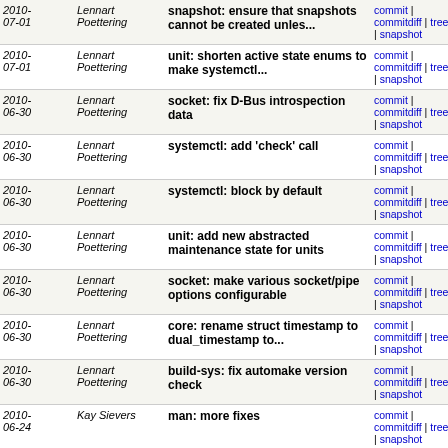| Date | Author | Message | Links |
| --- | --- | --- | --- |
| 2010-07-01 | Lennart Poettering | snapshot: ensure that snapshots cannot be created unles... | commit | commitdiff | tree | snapshot |
| 2010-07-01 | Lennart Poettering | unit: shorten active state enums to make systemctl... | commit | commitdiff | tree | snapshot |
| 2010-06-30 | Lennart Poettering | socket: fix D-Bus introspection data | commit | commitdiff | tree | snapshot |
| 2010-06-30 | Lennart Poettering | systemctl: add 'check' call | commit | commitdiff | tree | snapshot |
| 2010-06-30 | Lennart Poettering | systemctl: block by default | commit | commitdiff | tree | snapshot |
| 2010-06-30 | Lennart Poettering | unit: add new abstracted maintenance state for units | commit | commitdiff | tree | snapshot |
| 2010-06-30 | Lennart Poettering | socket: make various socket/pipe options configurable | commit | commitdiff | tree | snapshot |
| 2010-06-30 | Lennart Poettering | core: rename struct timestamp to dual_timestamp to... | commit | commitdiff | tree | snapshot |
| 2010-06-30 | Lennart Poettering | build-sys: fix automake version check | commit | commitdiff | tree | snapshot |
| 2010-06-24 | Kay Sievers | man: more fixes | commit | commitdiff | tree | snapshot |
| 2010-06-24 | Kay Sievers | man: various fixes | commit | commitdiff | tree | snapshot |
| 2010-06-24 | Lennart Poettering | man: finish systemd.unit.5 | commit | commitdiff | tree | snapshot |
| 2010- | Kay Sievers | man: spelling fixes | commit | commitdiff | tree |